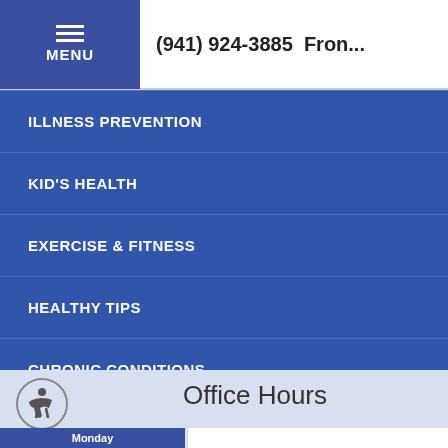(941) 924-3885  Fron...
ILLNESS PREVENTION
KID'S HEALTH
EXERCISE & FITNESS
HEALTHY TIPS
CHRONIC CONDITIONS
Office Hours
Monday